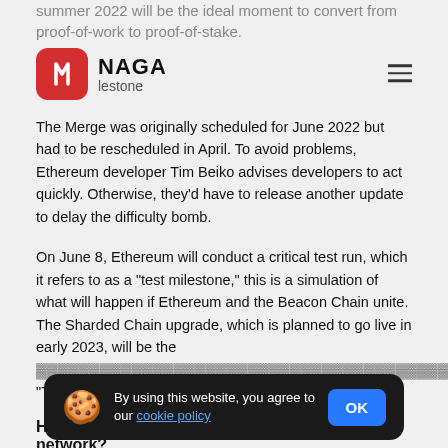summer 2022 will be the ideal moment to convert from proof-of-work to proof-of-stake.
NAGA · milestone
The Merge was originally scheduled for June 2022 but had to be rescheduled in April. To avoid problems, Ethereum developer Tim Beiko advises developers to act quickly. Otherwise, they'd have to release another update to delay the difficulty bomb.
On June 8, Ethereum will conduct a critical test run, which it refers to as a "test milestone," this is a simulation of what will happen if Ethereum and the Beacon Chain unite. The Sharded Chain upgrade, which is planned to go live in early 2023, will be the... "The Merge" is a...
How would the Merge affect the Ethereum network?